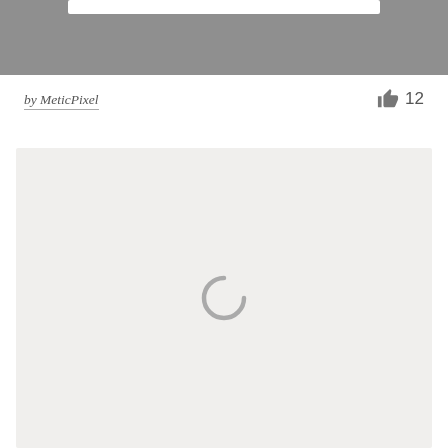[Figure (screenshot): Top grey banner with white rectangular element at the top]
by MeticPixel
[Figure (other): Thumbs up like icon followed by the number 12]
[Figure (other): Light grey content panel with a loading spinner (partial circle arc) in the center]